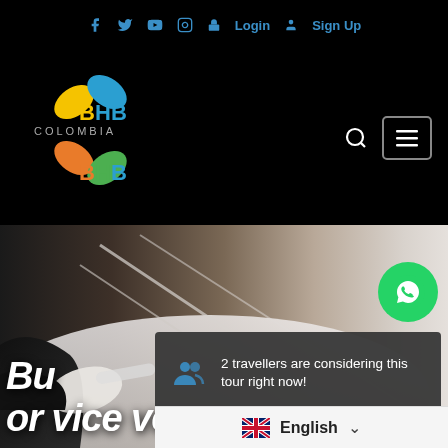f  t  yt  ig  🔒 Login  👤 Sign Up
[Figure (logo): BHB Colombia logo with colorful butterfly/flower shape in yellow, green, blue, orange colors with 'COLOMBIA' text]
[Figure (photo): A person's gloved hand opening a car door, luxury car door handle close-up]
[Figure (illustration): WhatsApp green circular button with phone/chat icon]
2 travellers are considering this tour right now!
Bu or vice versa
English